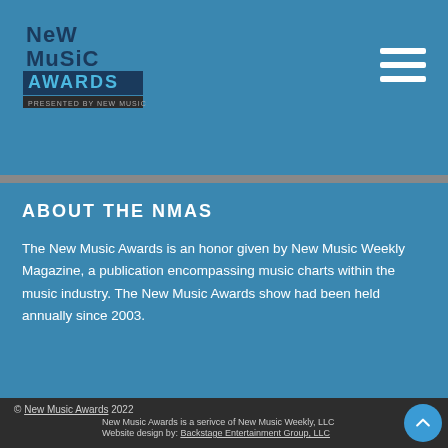[Figure (logo): New Music Awards logo with stylized text on blue background]
ABOUT THE NMAS
The New Music Awards is an honor given by New Music Weekly Magazine, a publication encompassing music charts within the music industry. The New Music Awards show had been held annually since 2003.
© New Music Awards 2022
New Music Awards is a serivce of New Music Weekly, LLC
Website design by: Backstage Entertainment Group, LLC